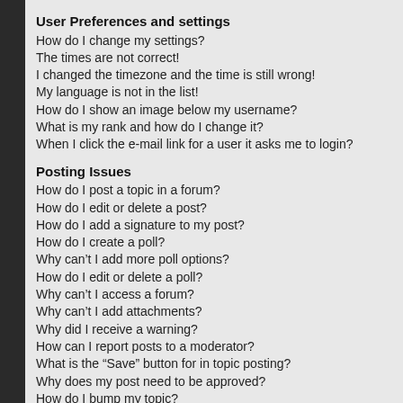User Preferences and settings
How do I change my settings?
The times are not correct!
I changed the timezone and the time is still wrong!
My language is not in the list!
How do I show an image below my username?
What is my rank and how do I change it?
When I click the e-mail link for a user it asks me to login?
Posting Issues
How do I post a topic in a forum?
How do I edit or delete a post?
How do I add a signature to my post?
How do I create a poll?
Why can't I add more poll options?
How do I edit or delete a poll?
Why can't I access a forum?
Why can't I add attachments?
Why did I receive a warning?
How can I report posts to a moderator?
What is the “Save” button for in topic posting?
Why does my post need to be approved?
How do I bump my topic?
Formatting and Topic Types
What is BBCode?
Can I use HTML?
What are Smilies?
Can I post images?